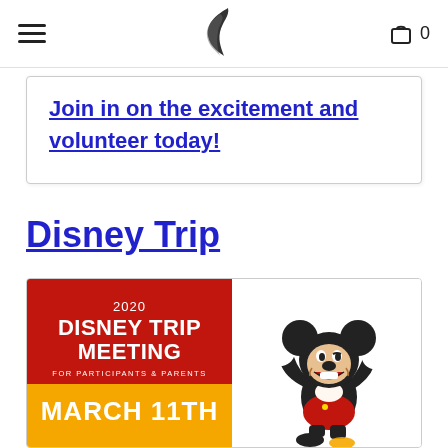Navigation header with hamburger menu, logo, and cart icon showing 0
Join in on the excitement and volunteer today!
Disney Trip
[Figure (infographic): Disney Trip Meeting flyer poster showing red section with '2020 DISNEY TRIP MEETING FOR PARTICIPANTS & PARENTS' and yellow section with 'MARCH 11TH', alongside Mickey Mouse illustration]